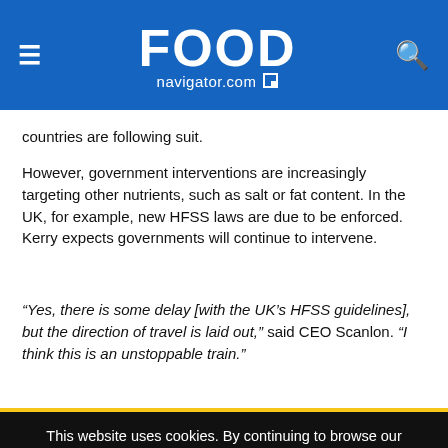FOOD navigator.com
countries are following suit.
However, government interventions are increasingly targeting other nutrients, such as salt or fat content. In the UK, for example, new HFSS laws are due to be enforced. Kerry expects governments will continue to intervene.
“Yes, there is some delay [with the UK’s HFSS guidelines], but the direction of travel is laid out,” said CEO Scanlon. “I think this is an unstoppable train.”
This website uses cookies. By continuing to browse our website, you are agreeing to our use of cookies. You can learn more about cookies by visiting our privacy & cookies policy page.